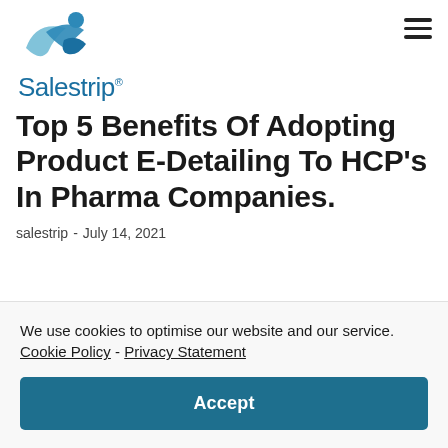[Figure (logo): Salestrip logo with blue swoosh figure and blue text 'Salestrip' with registered trademark symbol]
Top 5 Benefits Of Adopting Product E-Detailing To HCP’s In Pharma Companies.
salestrip  -  July 14, 2021
We use cookies to optimise our website and our service.  Cookie Policy - Privacy Statement
Accept